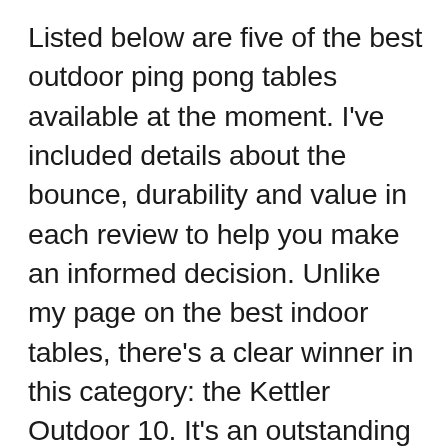Listed below are five of the best outdoor ping pong tables available at the moment. I've included details about the bounce, durability and value in each review to help you make an informed decision. Unlike my page on the best indoor tables, there's a clear winner in this category: the Kettler Outdoor 10. It's an outstanding model and the best KETTLER Monte Carlo Outdoor Table Tennis Bundle Weatherproof 22mm (7/8") ALU-TEC™ Outdoor Aluminum Top Dual Lock System Prevents Accidental Opening and Closing Permanent Net System - Net Stays in Place for Table Storage Two (2) HALO® Outdoor Racquets, Six ...